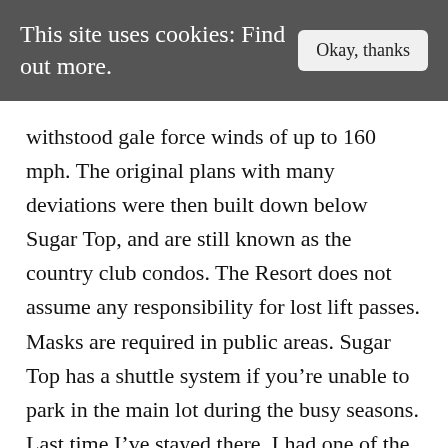This site uses cookies: Find out more.
withstood gale force winds of up to 160 mph. The original plans with many deviations were then built down below Sugar Top, and are still known as the country club condos. The Resort does not assume any responsibility for lost lift passes. Masks are required in public areas. Sugar Top has a shuttle system if you’re unable to park in the main lot during the busy seasons. Last time I’ve stayed there, I had one of the older units which was decorated with 80’s furniture and allure that triggered many flashbacks from my childhood days. Added sugars refers to a category that